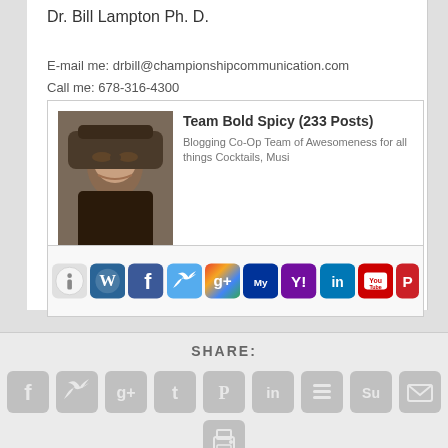Dr. Bill Lampton Ph. D.
E-mail me: drbill@championshipcommunication.com
Call me: 678-316-4300
[Figure (infographic): Author bio box with photo of a man wearing a hat and sunglasses, name 'Team Bold Spicy (233 Posts)', description 'Blogging Co-Op Team of Awesomeness for all things Cocktails, Musi...', and a row of social media icons (info, WordPress, Facebook, Twitter, Google+, MySpace, Yahoo, LinkedIn, YouTube, Pinterest)]
SHARE:
[Figure (infographic): Row of share buttons: Facebook, Twitter, Google+, Tumblr, Pinterest, LinkedIn, Buffer, StumbleUpon, Email, and a print button below]